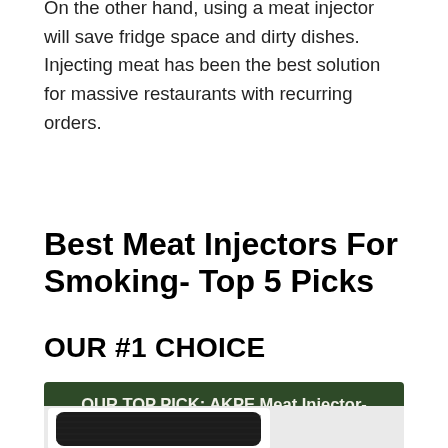On the other hand, using a meat injector will save fridge space and dirty dishes. Injecting meat has been the best solution for massive restaurants with recurring orders.
Best Meat Injectors For Smoking- Top 5 Picks
OUR #1 CHOICE
OUR TOP PICK: AKPE Meat Injector- Stainless Steel
[Figure (photo): Product photo of a black carbon-fiber textured case/kit for a meat injector, shown in a white background box]